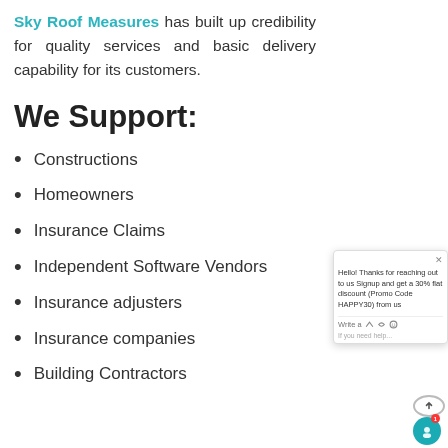Sky Roof Measures has built up credibility for quality services and basic delivery capability for its customers.
We Support:
Constructions
Homeowners
Insurance Claims
Independent Software Vendors
Insurance adjusters
Insurance companies
Building Contractors